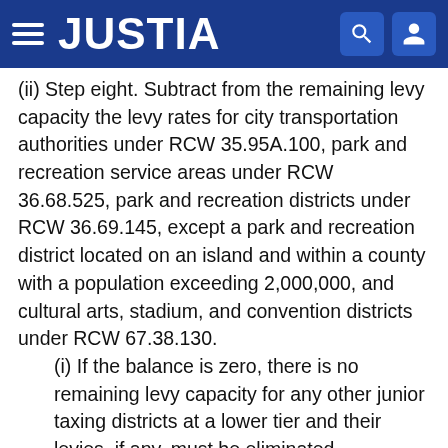JUSTIA
(ii) Step eight. Subtract from the remaining levy capacity the levy rates for city transportation authorities under RCW 35.95A.100, park and recreation service areas under RCW 36.68.525, park and recreation districts under RCW 36.69.145, except a park and recreation district located on an island and within a county with a population exceeding 2,000,000, and cultural arts, stadium, and convention districts under RCW 67.38.130.
(i) If the balance is zero, there is no remaining levy capacity for any other junior taxing districts at a lower tier and their levies, if any, must be eliminated.
(ii) If the balance is less than zero, then the levies within this tier must be reduced on a pro rata basis from the remaining balance in step seven until the balance is zero. After